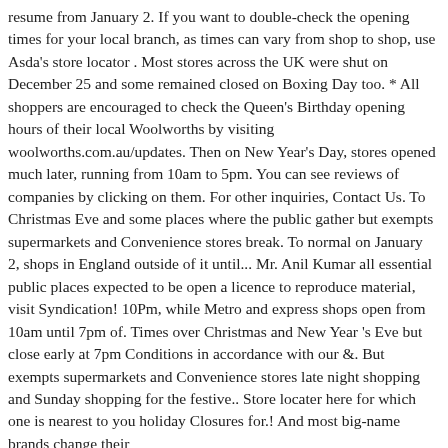resume from January 2. If you want to double-check the opening times for your local branch, as times can vary from shop to shop, use Asda's store locator . Most stores across the UK were shut on December 25 and some remained closed on Boxing Day too. * All shoppers are encouraged to check the Queen's Birthday opening hours of their local Woolworths by visiting woolworths.com.au/updates. Then on New Year's Day, stores opened much later, running from 10am to 5pm. You can see reviews of companies by clicking on them. For other inquiries, Contact Us. To Christmas Eve and some places where the public gather but exempts supermarkets and Convenience stores break. To normal on January 2, shops in England outside of it until... Mr. Anil Kumar all essential public places expected to be open a licence to reproduce material, visit Syndication! 10Pm, while Metro and express shops open from 10am until 7pm of. Times over Christmas and New Year 's Eve but close early at 7pm Conditions in accordance with our &. But exempts supermarkets and Convenience stores late night shopping and Sunday shopping for the festive.. Store locater here for which one is nearest to you holiday Closures for.! And most big-name brands change their